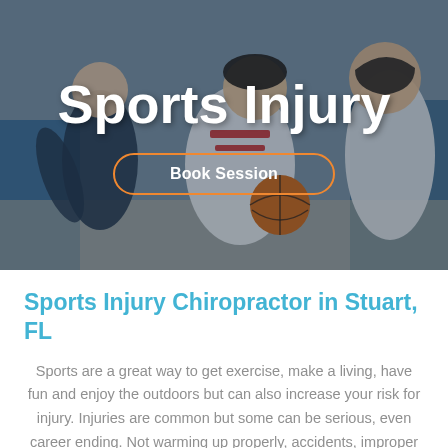[Figure (photo): Basketball players in action on an indoor court; two female athletes in red/white uniforms with one holding a basketball, another player in dark uniform in the background. Photo has a dark overlay.]
Sports Injury
Book Session
Sports Injury Chiropractor in Stuart, FL
Sports are a great way to get exercise, make a living, have fun and enjoy the outdoors but can also increase your risk for injury. Injuries are common but some can be serious, even career ending. Not warming up properly, accidents, improper gear, not